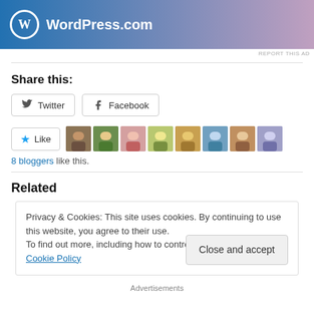[Figure (logo): WordPress.com banner advertisement with blue-to-pink gradient background, WordPress W logo circle in white, and WordPress.com text in white]
REPORT THIS AD
Share this:
[Figure (screenshot): Twitter and Facebook share buttons]
[Figure (screenshot): Like button with star icon and 8 blogger avatar thumbnails]
8 bloggers like this.
Related
Privacy & Cookies: This site uses cookies. By continuing to use this website, you agree to their use.
To find out more, including how to control cookies, see here: Cookie Policy
Close and accept
Advertisements